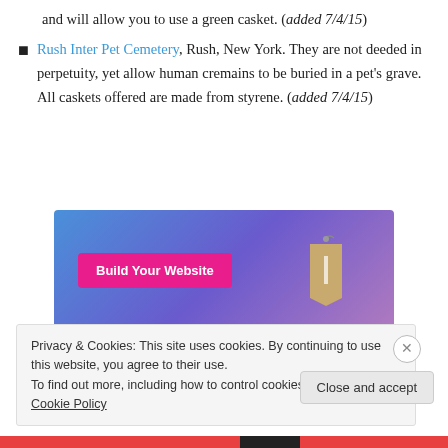and will allow you to use a green casket. (added 7/4/15)
Rush Inter Pet Cemetery, Rush, New York. They are not deeded in perpetuity, yet allow human cremains to be buried in a pet's grave. All caskets offered are made from styrene. (added 7/4/15)
[Figure (photo): Advertisement banner with blue-to-purple gradient background, a pink 'Build Your Website' button on the left, and a tan luggage tag on the right]
Privacy & Cookies: This site uses cookies. By continuing to use this website, you agree to their use.
To find out more, including how to control cookies, see here: Cookie Policy
Close and accept